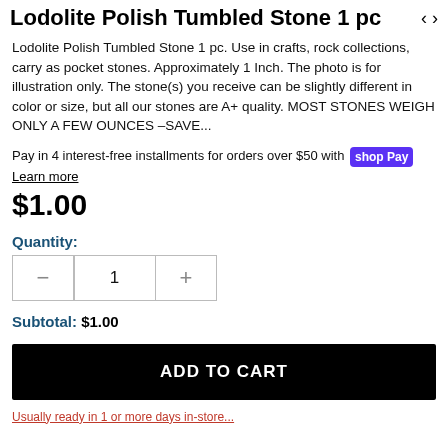Lodolite Polish Tumbled Stone 1 pc
Lodolite Polish Tumbled Stone 1 pc. Use in crafts, rock collections, carry as pocket stones. Approximately 1 Inch. The photo is for illustration only. The stone(s) you receive can be slightly different in color or size, but all our stones are A+ quality. MOST STONES WEIGH ONLY A FEW OUNCES –SAVE...
Pay in 4 interest-free installments for orders over $50 with shop Pay
Learn more
$1.00
Quantity:
Subtotal: $1.00
ADD TO CART
Usually ready in 1 or more days in-store...